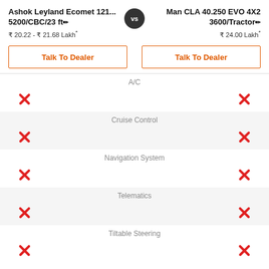Ashok Leyland Ecomet 121... 5200/CBC/23 ft vs Man CLA 40.250 EVO 4X2 3600/Tractor
₹ 20.22 - ₹ 21.68 Lakh*
₹ 24.00 Lakh*
Talk To Dealer
Talk To Dealer
A/C
Cruise Control
Navigation System
Telematics
Tiltable Steering